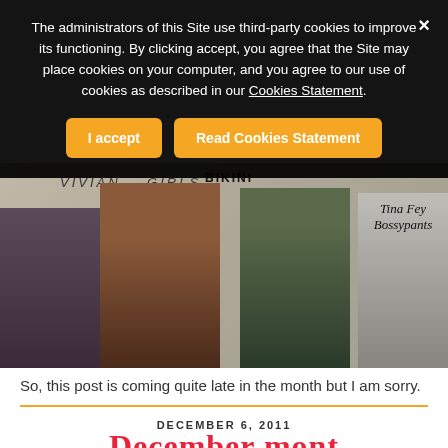The administrators of this Site use third-party cookies to improve its functioning. By clicking accept, you agree that the Site may place cookies on your computer, and you agree to our use of cookies as described in our Cookies Statement.
I accept | Read Cookies Statement
[Figure (photo): Collage of pop culture images including women in a band, a redheaded girl in an Army shirt, a girl with bangs, a Bikini Kill poster, Vivian Girls text, and a Tina Fey book cover (Bossypants)]
So, this post is coming quite late in the month but I am sorry.
DECEMBER 6, 2011
December monthly Picks